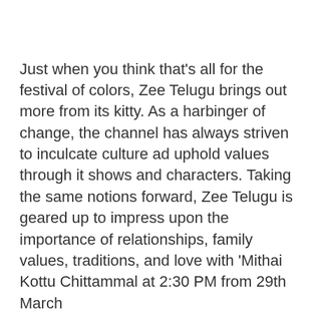Just when you think that's all for the festival of colors, Zee Telugu brings out more from its kitty. As a harbinger of change, the channel has always striven to inculcate culture ad uphold values through it shows and characters. Taking the same notions forward, Zee Telugu is geared up to impress upon the importance of relationships, family values, traditions, and love with 'Mithai Kottu Chittammal at 2:30 PM from 29th March